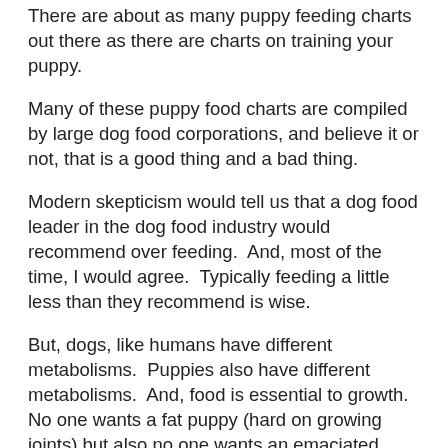There are about as many puppy feeding charts out there as there are charts on training your puppy.
Many of these puppy food charts are compiled by large dog food corporations, and believe it or not, that is a good thing and a bad thing.
Modern skepticism would tell us that a dog food leader in the dog food industry would recommend over feeding.  And, most of the time, I would agree.  Typically feeding a little less than they recommend is wise.
But, dogs, like humans have different metabolisms.  Puppies also have different metabolisms.  And, food is essential to growth.  No one wants a fat puppy (hard on growing joints) but also no one wants an emaciated puppy; one that can't grow and is considered abused.  So the food companies are trying to come up with a